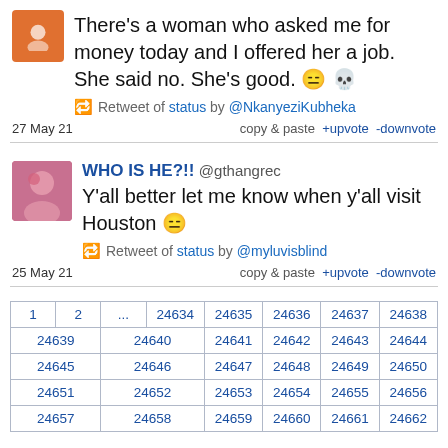There's a woman who asked me for money today and I offered her a job. She said no. She's good. 😑 💀 Retweet of status by @NkanyeziKubheka 27 May 21 copy & paste +upvote -downvote
WHO IS HE?!! @gthangrec Y'all better let me know when y'all visit Houston 😑 Retweet of status by @myluvisblind 25 May 21 copy & paste +upvote -downvote
| 1 | 2 | ... | 24634 | 24635 | 24636 | 24637 | 24638 |
| --- | --- | --- | --- | --- | --- | --- | --- |
| 24639 | 24640 | 24641 | 24642 | 24643 | 24644 |  |  |
| 24645 | 24646 | 24647 | 24648 | 24649 | 24650 |  |  |
| 24651 | 24652 | 24653 | 24654 | 24655 | 24656 |  |  |
| 24657 | 24658 | 24659 | 24660 | 24661 | 24662 |  |  |